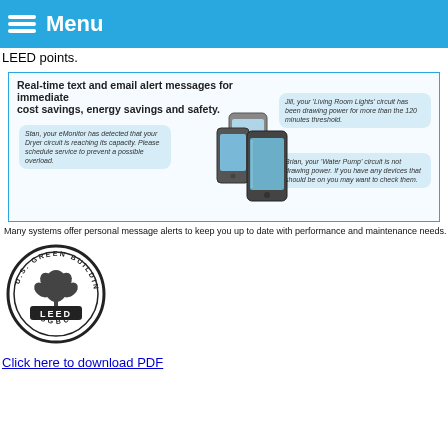Menu
LEED points.
[Figure (infographic): Real-time text and email alert messages for immediate cost savings, energy savings and safety. Shows mobile phones with speech bubbles: 'Stan, your eMonitor has detected that your Dryer circuit is reaching its capacity. Please schedule service to prevent a possible overload.' 'Jill, your Living Room Lights circuit has been drawing power for more than the 120 minutes threshold.' 'Brian, your Water Pump circuit is not drawing power. If you have any devices that should be on you may want to check them.']
Many systems offer personal message alerts to keep you up to date with performance and maintenance needs.
[Figure (logo): U.S. Green Building Council LEED USGBC circular seal/logo in black and white]
Click here to download PDF